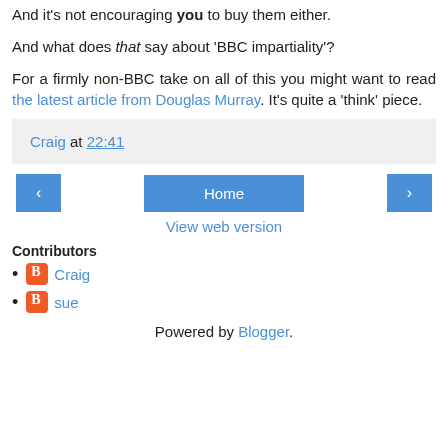And it's not encouraging you to buy them either.
And what does that say about 'BBC impartiality'?
For a firmly non-BBC take on all of this you might want to read the latest article from Douglas Murray. It's quite a 'think' piece.
Craig at 22:41
Home | navigation buttons
View web version
Contributors
Craig
sue
Powered by Blogger.